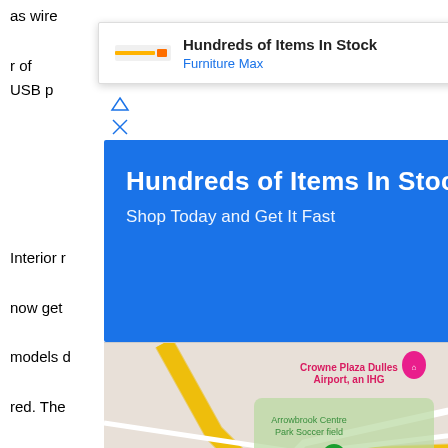as wire... r of USB p...
[Figure (infographic): Advertisement popup showing 'Hundreds of Items In Stock' with Furniture Max branding and a blue navigation arrow icon, plus ad close controls]
[Figure (infographic): Blue advertisement banner reading 'Hundreds of Items In Stock' and 'Shop Today and Get It Fast']
[Figure (map): Google Maps showing area near Dulles Airport with markers at Arrowbrook Centre Park Soccer field (green) and a red pin. Shows Crowne Plaza Dulles Airport/IHG, Chandon Dog Park, route 267, 657, 665, McNair, Sunrise Valley Dr, Coppermine road.]
Interior r... e cars now get ... p-end models d... k or red. The ... xtends